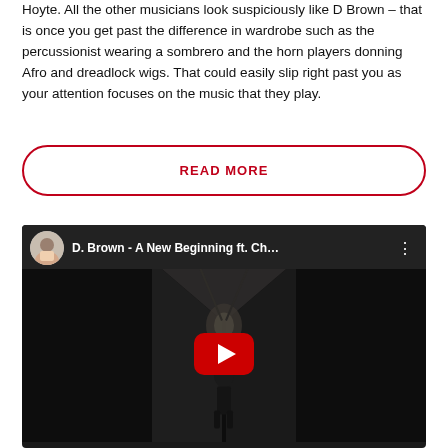Hoyte. All the other musicians look suspiciously like D Brown – that is once you get past the difference in wardrobe such as the percussionist wearing a sombrero and the horn players donning Afro and dreadlock wigs. That could easily slip right past you as your attention focuses on the music that they play.
READ MORE
[Figure (screenshot): YouTube video embed showing 'D. Brown - A New Beginning ft. Ch...' with a dark video thumbnail featuring a figure in a corridor and a YouTube play button overlay.]